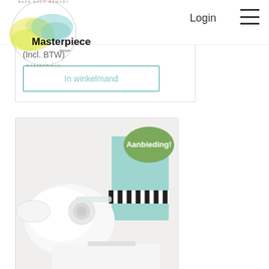[Figure (logo): Masterpiece design circular logo with watercolor paint splash in yellow and teal/blue]
Login
(Incl. BTW)
In winkelmand
[Figure (photo): White crafting or sewing machine product photo with teal/mint colored back panel and black and white striped element, with green oval badge reading 'Aanbieding!']